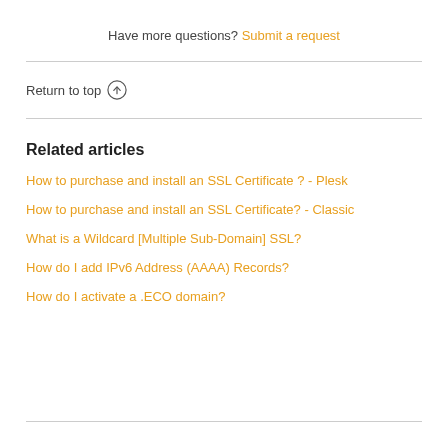Have more questions? Submit a request
Return to top ↑
Related articles
How to purchase and install an SSL Certificate ? - Plesk
How to purchase and install an SSL Certificate? - Classic
What is a Wildcard [Multiple Sub-Domain] SSL?
How do I add IPv6 Address (AAAA) Records?
How do I activate a .ECO domain?